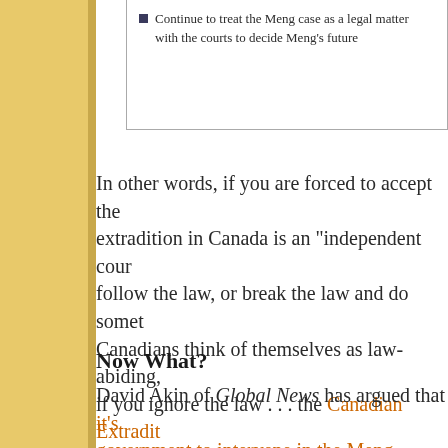Continue to treat the Meng case as a legal matter with the courts to decide Meng's future
In other words, if you are forced to accept the extradition in Canada is an "independent court" follow the law, or break the law and do something Canadians think of themselves as law-abiding, if you ignore the law . . . the Canadian Extradit...
Now What?
David Akin of Global News has argued that it's government to intervene in the Meng extradition. Akin, the Minister can only act at the end of the 8 to 10 years from now?). Commenting on CB...